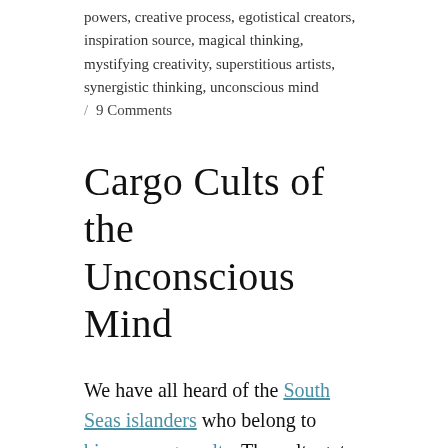powers, creative process, egotistical creators, inspiration source, magical thinking, mystifying creativity, superstitious artists, synergistic thinking, unconscious mind / 9 Comments
Cargo Cults of the Unconscious Mind
We have all heard of the South Seas islanders who belong to bizarre cargo cults. The cults got started shortly after WW II when the Americans pulled out of their many military bases scattered across the Pacific. It was cheaper to leave large quantities of supplies and gear behind than to transport them home so, as is